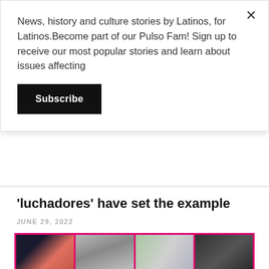News, history and culture stories by Latinos, for Latinos.Become part of our Pulso Fam! Sign up to receive our most popular stories and learn about issues affecting
Subscribe
'luchadores' have set the example
JUNE 29, 2022
[Figure (photo): Grid of 8 headshot photos of Latino individuals, bordered in pink/magenta, arranged in 4 columns and 2 rows]